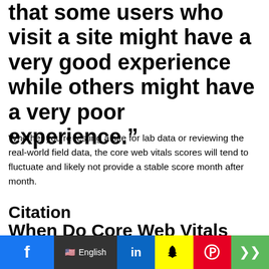that some users who visit a site might have a very good experience while others might have a very poor experience.”
Whether you’re testing a site for lab data or reviewing the real-world field data, the core web vitals scores will tend to fluctuate and likely not provide a stable score month after month.
Citation
When Do Core Web Vitals Scores Settle Down?
[Figure (other): Social share bar with Facebook, English language selector, LinkedIn, Snapchat, Pinterest, and share buttons]